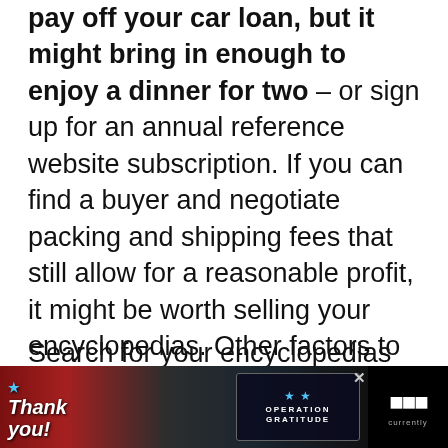pay off your car loan, but it might bring in enough to enjoy a dinner for two – or sign up for an annual reference website subscription. If you can find a buyer and negotiate packing and shipping fees that still allow for a reasonable profit, it might be worth selling your encyclopedias. Other factors to consider are condition, edition, supply and demand, and, of course, the time investment required to find a buyer.
Search for your encyclopedias on sites such as Direct Textbook, Flipsy, Abe Books, Amazon, Eba[y]... currently
[Figure (photo): Advertisement banner: 'Thank you!' text with American flag star graphic on left over a photo of firefighters/military personnel in front of a fire truck, Operation Gratitude logo in center-right, and a square logo on the far right. An X close button is visible.]